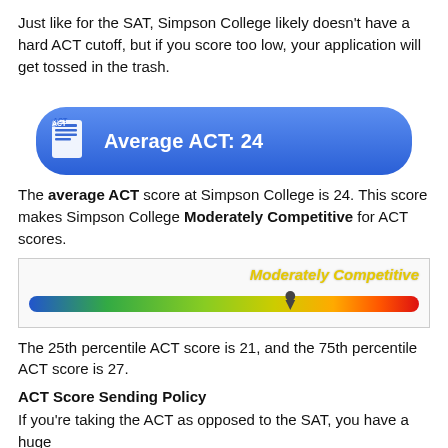Just like for the SAT, Simpson College likely doesn't have a hard ACT cutoff, but if you score too low, your application will get tossed in the trash.
[Figure (infographic): Blue rounded banner with ACT document icon on the left and bold white text 'Average ACT: 24']
The average ACT score at Simpson College is 24. This score makes Simpson College Moderately Competitive for ACT scores.
[Figure (infographic): Competitiveness gauge bar showing a color gradient from blue to red with a pin marker indicating 'Moderately Competitive' position, labeled in yellow italic text]
The 25th percentile ACT score is 21, and the 75th percentile ACT score is 27.
ACT Score Sending Policy
If you're taking the ACT as opposed to the SAT, you have a huge